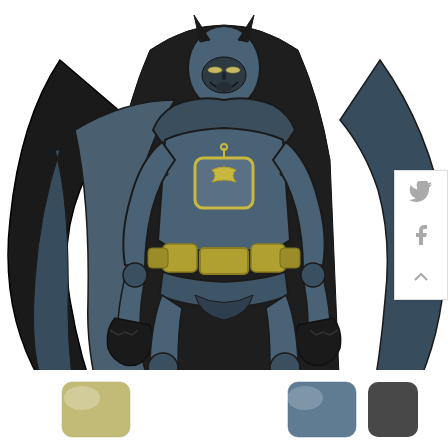[Figure (illustration): Digital illustration of Batman in a blue-grey tactical armored suit with yellow utility belt and chest emblem, wearing a black cape spread wide, standing in a frontal pose. Below the figure are color swatches showing the palette used: olive/gold and steel blue. Social media icons (Twitter bird, Facebook f, up-arrow) appear on the right side.]